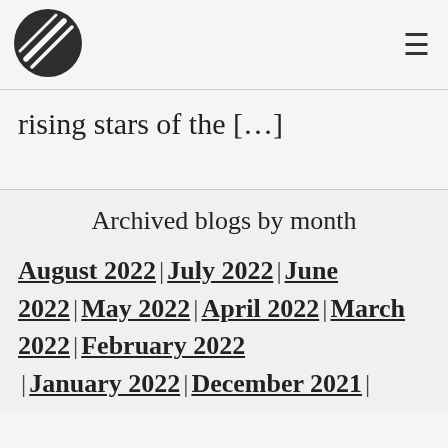[Figure (logo): Circular logo with diagonal stripe lines, dark grey/black color]
rising stars of the […]
Archived blogs by month
August 2022 | July 2022 | June 2022 | May 2022 | April 2022 | March 2022 | February 2022 | January 2022 | December 2021 |